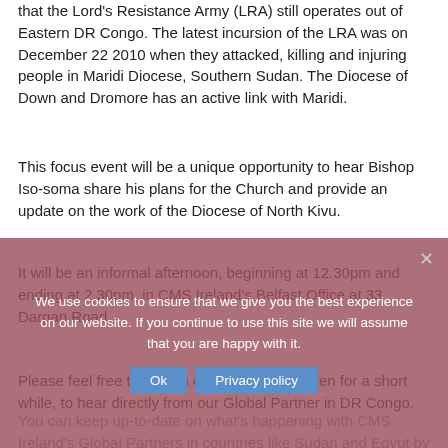that the Lord's Resistance Army (LRA) still operates out of Eastern DR Congo. The latest incursion of the LRA was on December 22 2010 when they attacked, killing and injuring people in Maridi Diocese, Southern Sudan. The Diocese of Down and Dromore has an active link with Maridi.
This focus event will be a unique opportunity to hear Bishop Iso-soma share his plans for the Church and provide an update on the work of the Diocese of North Kivu.
It will be an informal afternoon, beginning at 12.30pm and ending at 2.30pm, in CMS Ireland's Belfast Office at 33 Dargan Road.
Please feel free to drop in during this time, even for a short while, to hear directly from our Global Partner in DR Congo.
You can keep up-to-date on what's happening with CMS Ireland's Global Partners in countries like Sudan and Egypt by visiting www.cmsireland.org.
We use cookies to ensure that we give you the best experience on our website. If you continue to use this site we will assume that you are happy with it.